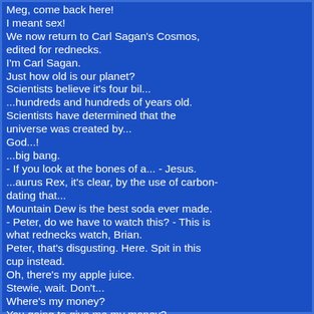Meg, come back here!
I meant sex!
We now return to Carl Sagan's Cosmos, edited for rednecks.
I'm Carl Sagan.
Just how old is our planet?
Scientists believe it's four bil...
...hundreds and hundreds of years old.
Scientists have determined that the universe was created by...
God...!
...big bang.
- If you look at the bones of a... - Jesus.
...aurus Rex, it's clear, by the use of carbon-dating that...
Mountain Dew is the best soda ever made.
- Peter, do we have to watch this? - This is what rednecks watch, Brian.
Peter, that's disgusting. Here. Spit in this cup instead.
Oh, there's my apple juice.
Stewie, wait. Don't...
Where's my money?
You going to give me my money?
Never mind.
Hey, Brian, check it out!
Peter, you painted over the back window.
Isn't that dangerous?
I'm a redneck, Brian.
We like people driving behind us to know what our beliefs are.
Peter, what the hell?! My car!